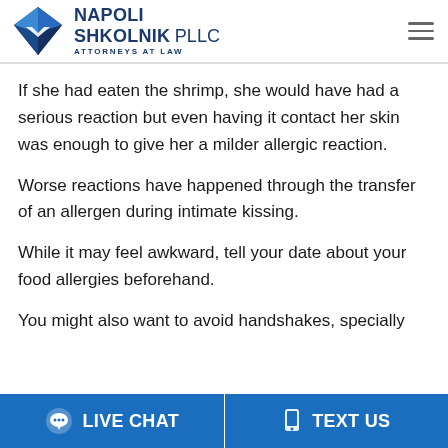NAPOLI SHKOLNIK PLLC ATTORNEYS AT LAW
If she had eaten the shrimp, she would have had a serious reaction but even having it contact her skin was enough to give her a milder allergic reaction.
Worse reactions have happened through the transfer of an allergen during intimate kissing.
While it may feel awkward, tell your date about your food allergies beforehand.
You might also want to avoid handshakes, specially
LIVE CHAT   TEXT US